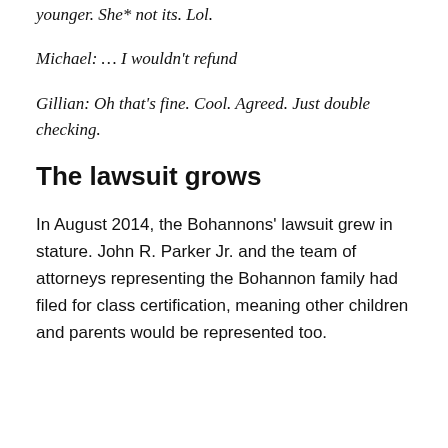younger. She* not its. Lol.
Michael: … I wouldn't refund
Gillian: Oh that's fine. Cool. Agreed. Just double checking.
The lawsuit grows
In August 2014, the Bohannons' lawsuit grew in stature. John R. Parker Jr. and the team of attorneys representing the Bohannon family had filed for class certification, meaning other children and parents would be represented too.